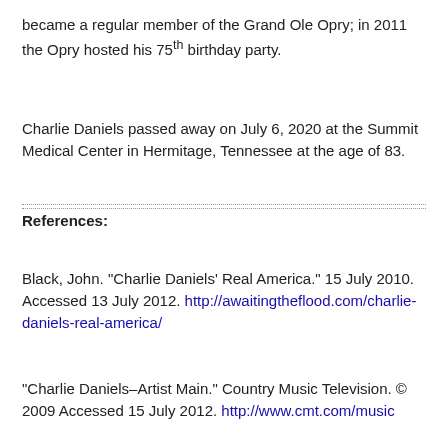became a regular member of the Grand Ole Opry; in 2011 the Opry hosted his 75th birthday party.
Charlie Daniels passed away on July 6, 2020 at the Summit Medical Center in Hermitage, Tennessee at the age of 83.
References:
Black, John. "Charlie Daniels' Real America." 15 July 2010. Accessed 13 July 2012. http://awaitingtheflood.com/charlie-daniels-real-america/
"Charlie Daniels–Artist Main." Country Music Television. © 2009 Accessed 15 July 2012. http://www.cmt.com/music